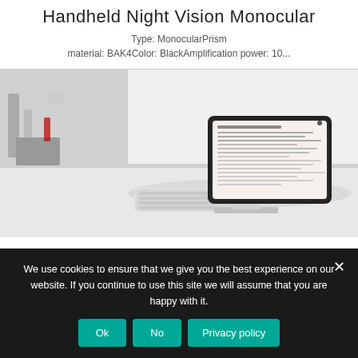Handheld Night Vision Monocular
Type: MonocularPrism material: BAK4Color: BlackAmplification power: 10...
[Figure (photo): A tablet on a stand with a keyboard on a white desk in a bright minimalist room setting]
We use cookies to ensure that we give you the best experience on our website. If you continue to use this site we will assume that you are happy with it.
Ok   No   Privacy policy